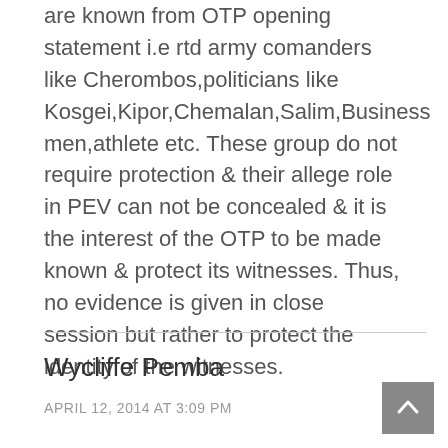are known from OTP opening statement i.e rtd army comanders like Cherombos,politicians like Kosgei,Kipor,Chemalan,Salim,Business men,athlete etc. These group do not require protection & their allege role in PEV can not be concealed & it is the interest of the OTP to be made known & protect its witnesses. Thus, no evidence is given in close session but rather to protect the identity of the witnesses.
Wycliffe Pemba
APRIL 12, 2014 AT 3:09 PM